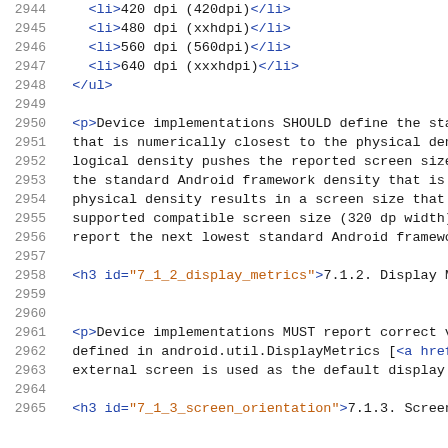<li>420 dpi (420dpi)</li>
<li>480 dpi (xxhdpi)</li>
<li>560 dpi (560dpi)</li>
<li>640 dpi (xxxhdpi)</li>
</ul>
<p>Device implementations SHOULD define the standard Android framework density that is numerically closest to the physical density, such that if rounding the logical density pushes the reported screen size below the minimum supported compatible screen size (320 dp width), device implementations SHOULD report the next lowest standard Android framework density.
<h3 id="7_1_2_display_metrics">7.1.2. Display Metrics</h3>
<p>Device implementations MUST report correct values for all display metrics defined in android.util.DisplayMetrics and MUST report the same values whether or not an embedded or external screen is used as the default display.
<h3 id="7_1_3_screen_orientation">7.1.3. Screen Orientation</h3>